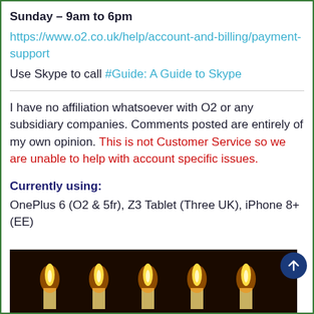Sunday – 9am to 6pm
https://www.o2.co.uk/help/account-and-billing/payment-support
Use Skype to call #Guide: A Guide to Skype
I have no affiliation whatsoever with O2 or any subsidiary companies. Comments posted are entirely of my own opinion. This is not Customer Service so we are unable to help with account specific issues.
Currently using:
OnePlus 6 (O2 & 5fr), Z3 Tablet (Three UK), iPhone 8+ (EE)
[Figure (photo): Photo of candles burning with dark background, showing flame tips]